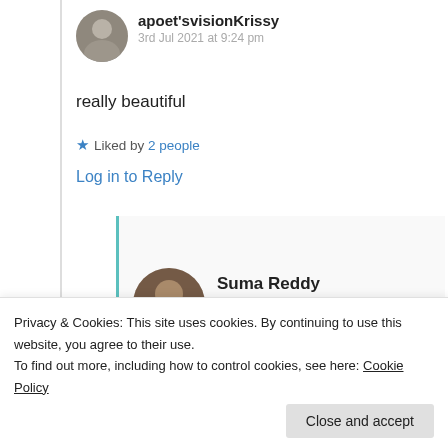apoet'svisionKrissy
3rd Jul 2021 at 9:24 pm
really beautiful
★ Liked by 2 people
Log in to Reply
Suma Reddy
7th Jul 2021 at 2:30 am
Privacy & Cookies: This site uses cookies. By continuing to use this website, you agree to their use.
To find out more, including how to control cookies, see here: Cookie Policy
Close and accept
★ Liked by 1 person